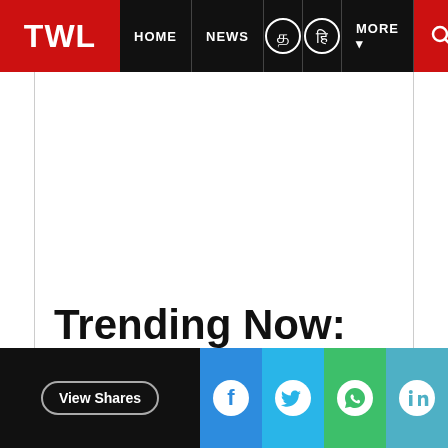TWL | HOME | NEWS | MORE
Trending Now:
View Shares | Facebook | Twitter | WhatsApp | LinkedIn